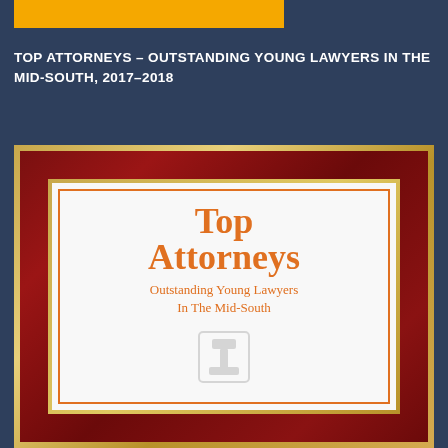[Figure (other): Yellow/gold horizontal bar at top of page]
TOP ATTORNEYS – OUTSTANDING YOUNG LAWYERS IN THE MID-SOUTH, 2017–2018
[Figure (photo): Framed award plaque showing 'Top Attorneys Outstanding Young Lawyers In The Mid-South' certificate in a gold and dark red wood frame]